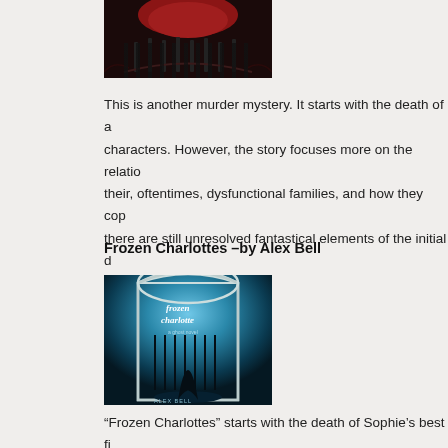[Figure (photo): Top portion of a book cover with dark red and black colors, showing decorative floral/Gothic elements]
This is another murder mystery. It starts with the death of a characters. However, the story focuses more on the relatio their, oftentimes, dysfunctional families, and how they cop there are still unresolved fantastical elements of the initial d the second installment.
Frozen Charlottes –by Alex Bell
[Figure (photo): Book cover of 'Frozen Charlotte' by Alex Bell showing a dark silhouette of a girl standing in front of a blue-lit arched window]
“Frozen Charlottes” starts with the death of Sophie’s best fi sent to her uncle’s isolated, gloomy mansion to recuperate from being occupied by a generally tormented family, it’s al